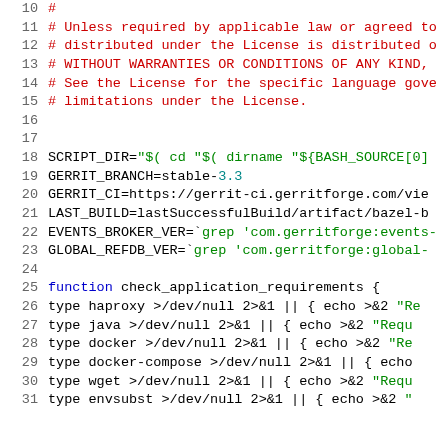[Figure (screenshot): Source code screenshot showing shell script lines 10-31 with syntax highlighting. Comments in red, strings in green, keywords in blue, numbers in teal.]